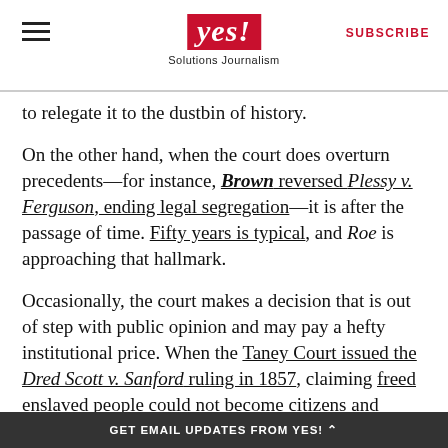YES! Solutions Journalism
to relegate it to the dustbin of history.
On the other hand, when the court does overturn precedents—for instance, Brown reversed Plessy v. Ferguson, ending legal segregation—it is after the passage of time. Fifty years is typical, and Roe is approaching that hallmark.
Occasionally, the court makes a decision that is out of step with public opinion and may pay a hefty institutional price. When the Taney Court issued the Dred Scott v. Sanford ruling in 1857, claiming freed enslaved people could not become citizens and overruling the Missouri Compromise that balanced the number of free and slave states,
GET EMAIL UPDATES FROM YES! ^